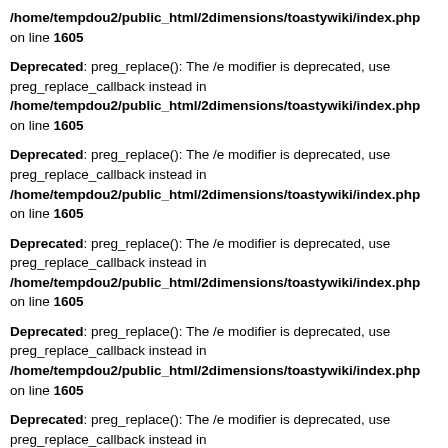/home/tempdou2/public_html/2dimensions/toastywiki/index.php on line 1605
Deprecated: preg_replace(): The /e modifier is deprecated, use preg_replace_callback instead in /home/tempdou2/public_html/2dimensions/toastywiki/index.php on line 1605
Deprecated: preg_replace(): The /e modifier is deprecated, use preg_replace_callback instead in /home/tempdou2/public_html/2dimensions/toastywiki/index.php on line 1605
Deprecated: preg_replace(): The /e modifier is deprecated, use preg_replace_callback instead in /home/tempdou2/public_html/2dimensions/toastywiki/index.php on line 1605
Deprecated: preg_replace(): The /e modifier is deprecated, use preg_replace_callback instead in /home/tempdou2/public_html/2dimensions/toastywiki/index.php on line 1605
Deprecated: preg_replace(): The /e modifier is deprecated, use preg_replace_callback instead in /home/tempdou2/public_html/2dimensions/toastywiki/index.php on line 1605